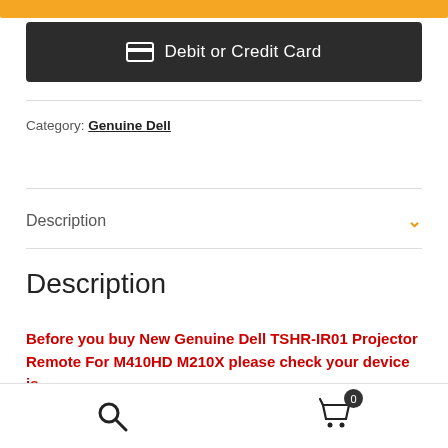[Figure (other): Yellow button bar (partial, cropped at top)]
Debit or Credit Card
Category: Genuine Dell
Description
Description
Before you buy New Genuine Dell TSHR-IR01 Projector Remote For M410HD M210X please check your device is
Search | Cart 0